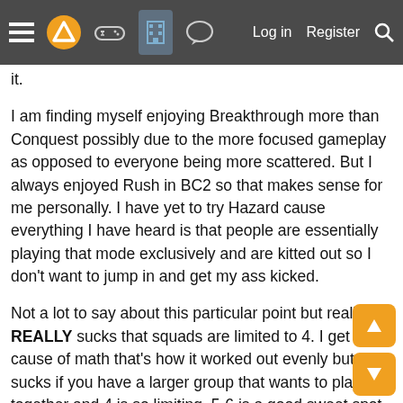Navigation bar with menu, logo, controller, building, chat icons, and Log in / Register / Search links
it.
I am finding myself enjoying Breakthrough more than Conquest possibly due to the more focused gameplay as opposed to everyone being more scattered. But I always enjoyed Rush in BC2 so that makes sense for me personally. I have yet to try Hazard cause everything I have heard is that people are essentially playing that mode exclusively and are kitted out so I don't want to jump in and get my ass kicked.
Not a lot to say about this particular point but really REALLY sucks that squads are limited to 4. I get it cause of math that's how it worked out evenly but it sucks if you have a larger group that wants to play together and 4 is so limiting, 5-6 is a good sweet spot.
Destruction is once again lacking. I found myself attempting to blow up walls that seemed primed for a rocket and nothing happened. It's unfortunate but it's been this way for awhile